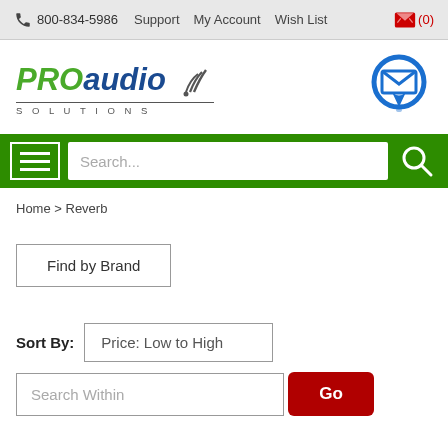📞 800-834-5986  Support  My Account  Wish List  🛒(0)
[Figure (logo): PRO audio SOLUTIONS logo with wifi signal arcs and an email/location pin icon on the right]
[Figure (screenshot): Green navigation bar with hamburger menu icon, search input placeholder 'Search...' and magnifying glass icon]
Home > Reverb
Find by Brand
Sort By: Price: Low to High
Search Within  Go